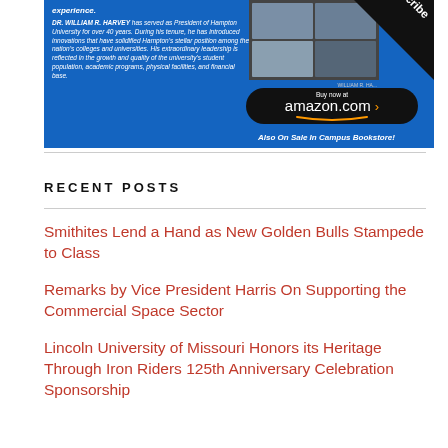[Figure (photo): Advertisement banner for a book about Hampton University President Dr. William R. Harvey, featuring a blue background with text about his 40-year tenure, a photo collage, an Amazon buy button, and a Subscribe corner badge.]
RECENT POSTS
Smithites Lend a Hand as New Golden Bulls Stampede to Class
Remarks by Vice President Harris On Supporting the Commercial Space Sector
Lincoln University of Missouri Honors its Heritage Through Iron Riders 125th Anniversary Celebration Sponsorship